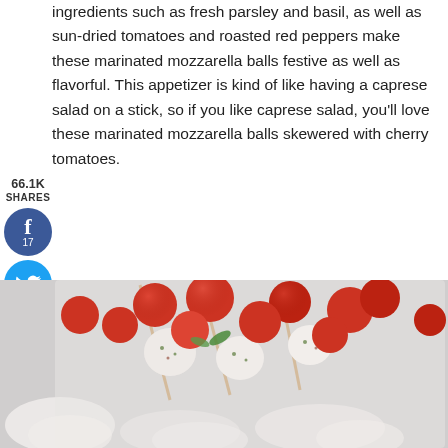ingredients such as fresh parsley and basil, as well as sun-dried tomatoes and roasted red peppers make these marinated mozzarella balls festive as well as flavorful. This appetizer is kind of like having a caprese salad on a stick, so if you like caprese salad, you'll love these marinated mozzarella balls skewered with cherry tomatoes.
66.1K
SHARES
17
I find the mini mozzarella balls at Costco but I've seen them in supermarkets too. Marinate them overnight if possible, or preferably at least 4 hours. Serve with toothpicks, or skewer them with cherry tomatoes for an easy and delicious small bite for your next party.
[Figure (photo): Food photo showing marinated mozzarella balls skewered with cherry tomatoes on a plate]